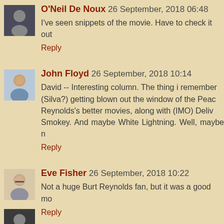O'Neil De Noux 26 September, 2018 06:48
I've seen snippets of the movie. Have to check it out
Reply
John Floyd 26 September, 2018 10:14
David -- Interesting column. The thing i remember (Silva?) getting blown out the window of the Pea Reynolds's better movies, along with (IMO) Deliv Smokey. And maybe White Lightning. Well, maybe n
Reply
Eve Fisher 26 September, 2018 10:22
Not a huge Burt Reynolds fan, but it was a good mo
Reply